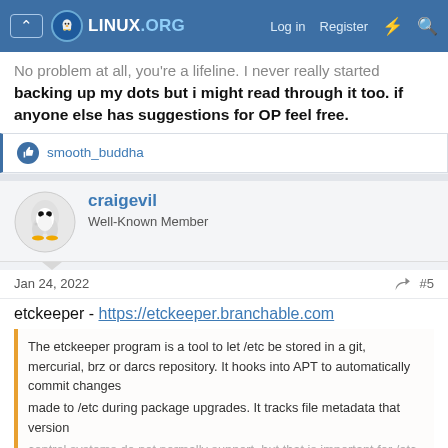LINUX.ORG — Log in  Register
No problem at all, you're a lifeline. I never really started backing up my dots but i might read through it too. if anyone else has suggestions for OP feel free.
smooth_buddha
craigevil
Well-Known Member
Jan 24, 2022   #5
etckeeper - https://etckeeper.branchable.com
The etckeeper program is a tool to let /etc be stored in a git, mercurial, brz or darcs repository. It hooks into APT to automatically commit changes
made to /etc during package upgrades. It tracks file metadata that version
control systems do not normally support, but that is important for /etc, such
as the permissions of /etc/shadow. It's quite modular, and